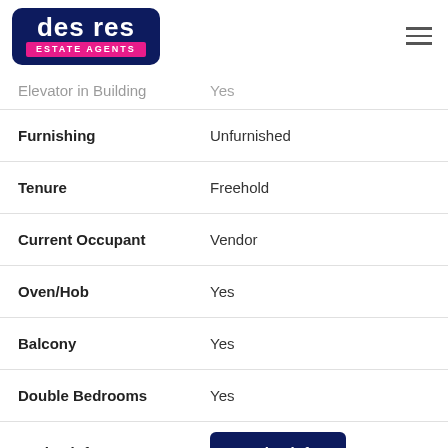des res ESTATE AGENTS
| Property | Value |
| --- | --- |
| Elevator in Building | Yes |
| Furnishing | Unfurnished |
| Tenure | Freehold |
| Current Occupant | Vendor |
| Oven/Hob | Yes |
| Balcony | Yes |
| Double Bedrooms | Yes |
| Market info | Market info |